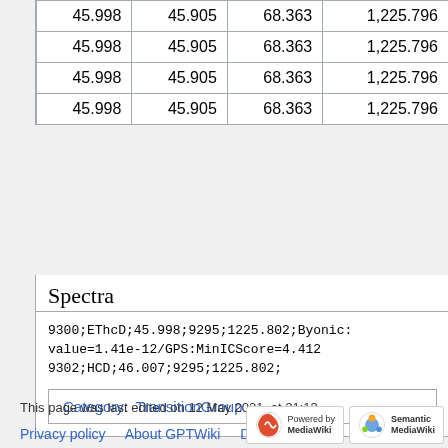| 45.998 | 45.905 | 68.363 | 1,225.796 |
| 45.998 | 45.905 | 68.363 | 1,225.796 |
| 45.998 | 45.905 | 68.363 | 1,225.796 |
| 45.998 | 45.905 | 68.363 | 1,225.796 |
Spectra
9300;EThcD;45.998;9295;1225.802;Byonic: value=1.41e-12/GPS:MinICScore=4.412
9302;HCD;46.007;9295;1225.802;
Category:  TransitionGroup
This page was last edited on 12 May 2021, at 21:13.
Privacy policy   About GPTWiki   Disclaimers